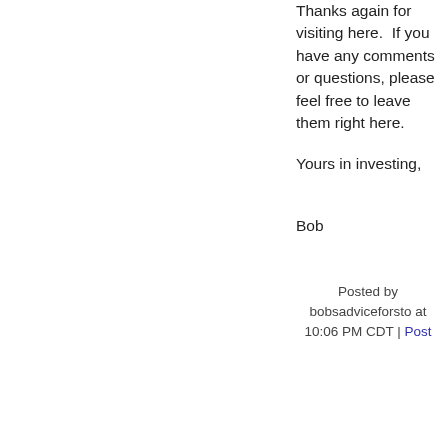Thanks again for visiting here.  If you have any comments or questions, please feel free to leave them right here.
Yours in investing,
Bob
Posted by bobsadviceforsto at 10:06 PM CDT | Post